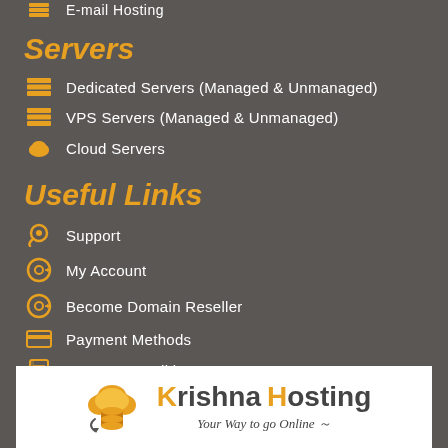E-mail Hosting
Servers
Dedicated Servers (Managed & Unmanaged)
VPS Servers (Managed & Unmanaged)
Cloud Servers
Useful Links
Support
My Account
Become Domain Reseller
Payment Methods
Terms & Conditions
[Figure (logo): Krishna Hosting logo with cloud and database icon, tagline: Your Way to go Online]